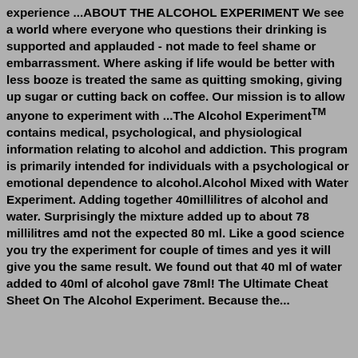experience ...ABOUT THE ALCOHOL EXPERIMENT We see a world where everyone who questions their drinking is supported and applauded - not made to feel shame or embarrassment. Where asking if life would be better with less booze is treated the same as quitting smoking, giving up sugar or cutting back on coffee. Our mission is to allow anyone to experiment with ...The Alcohol Experiment™ contains medical, psychological, and physiological information relating to alcohol and addiction. This program is primarily intended for individuals with a psychological or emotional dependence to alcohol.Alcohol Mixed with Water Experiment. Adding together 40millilitres of alcohol and water. Surprisingly the mixture added up to about 78 millilitres amd not the expected 80 ml. Like a good science you try the experiment for couple of times and yes it will give you the same result. We found out that 40 ml of water added to 40ml of alcohol gave 78ml! The Ultimate Cheat Sheet On The Alcohol Experiment. Because the...